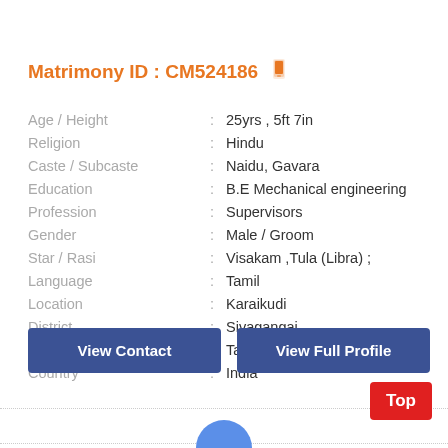Matrimony ID : CM524186
| Field | : | Value |
| --- | --- | --- |
| Age / Height | : | 25yrs , 5ft 7in |
| Religion | : | Hindu |
| Caste / Subcaste | : | Naidu, Gavara |
| Education | : | B.E Mechanical engineering |
| Profession | : | Supervisors |
| Gender | : | Male / Groom |
| Star / Rasi | : | Visakam ,Tula (Libra) ; |
| Language | : | Tamil |
| Location | : | Karaikudi |
| District | : | Sivagangai |
| State | : | Tamil Nadu |
| Country | : | India |
View Contact
View Full Profile
Top